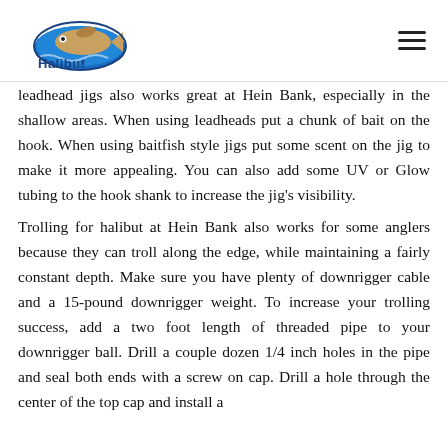Halibut.net [logo] [navigation menu]
leadhead jigs also works great at Hein Bank, especially in the shallow areas. When using leadheads put a chunk of bait on the hook. When using baitfish style jigs put some scent on the jig to make it more appealing. You can also add some UV or Glow tubing to the hook shank to increase the jig's visibility.
Trolling for halibut at Hein Bank also works for some anglers because they can troll along the edge, while maintaining a fairly constant depth. Make sure you have plenty of downrigger cable and a 15-pound downrigger weight. To increase your trolling success, add a two foot length of threaded pipe to your downrigger ball. Drill a couple dozen 1/4 inch holes in the pipe and seal both ends with a screw on cap. Drill a hole through the center of the top cap and install a